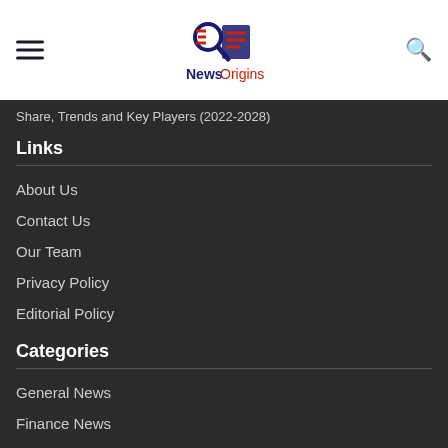News Origins
Share, Trends and Key Players (2022-2028)
Links
About Us
Contact Us
Our Team
Privacy Policy
Editorial Policy
Categories
General News
Finance News
Business News